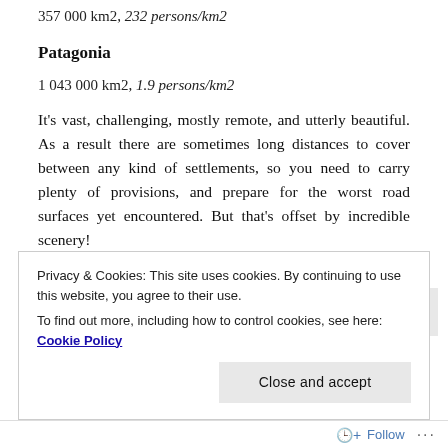357 000 km2, 232 persons/km2
Patagonia
1 043 000 km2, 1.9 persons/km2
It’s vast, challenging, mostly remote, and utterly beautiful. As a result there are sometimes long distances to cover between any kind of settlements, so you need to carry plenty of provisions, and prepare for the worst road surfaces yet encountered. But that’s offset by incredible scenery!
[Figure (other): Advertisements banner with purple bar on grey background]
Privacy & Cookies: This site uses cookies. By continuing to use this website, you agree to their use.
To find out more, including how to control cookies, see here: Cookie Policy
Close and accept
Follow ...